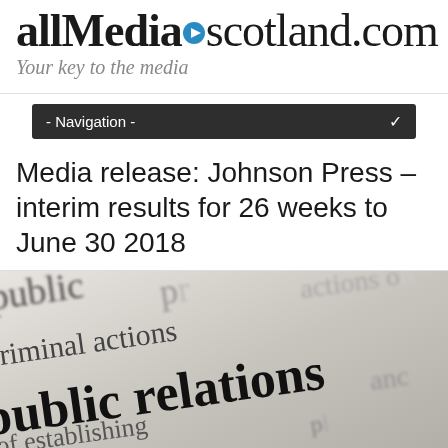allmedia▶scotland.com — Your key to the media
- Navigation -
Media release: Johnson Press – interim results for 26 weeks to June 30 2018
[Figure (photo): Close-up photograph of a dictionary page showing the entry for 'public relations', with surrounding text fragments including 'public', 'criminal actions', 'of establishing', 'blic. 2. (used']